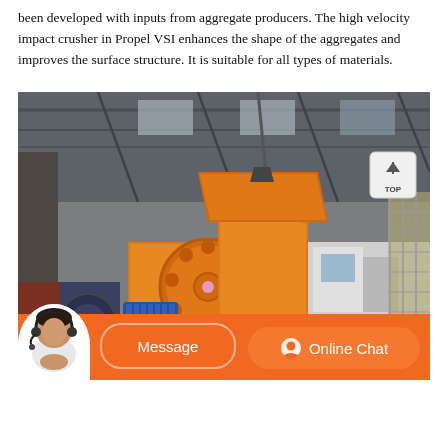been developed with inputs from aggregate producers. The high velocity impact crusher in Propel VSI enhances the shape of the aggregates and improves the surface structure. It is suitable for all types of materials.
[Figure (photo): Photo of a large orange high velocity impact crusher machine suspended in an industrial warehouse/factory setting. A white truck is visible on the right side. The warehouse has a metal roof structure. A person with a headset is shown in the bottom left corner of a chat bar overlay.]